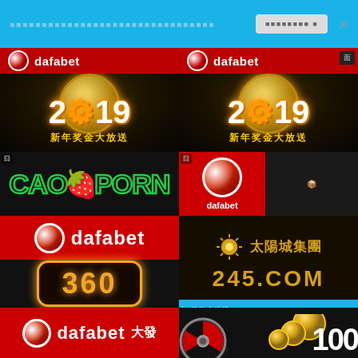[Figure (screenshot): Top blue browser bar with garbled text, a button, and an X close button]
[Figure (screenshot): Dafabet 2019 新年奖金大放送 promotional banner (left)]
[Figure (screenshot): Dafabet 2019 新年奖金大放送 promotional banner (right)]
[Figure (screenshot): CAOPORN logo overlay text in green]
[Figure (screenshot): Dafabet circle logo with brand name on right side middle]
[Figure (screenshot): Dafabet red banner with logo and name]
[Figure (screenshot): 360 pill/badge in orange border]
[Figure (screenshot): 太陽城集團 245.COM logo]
[Figure (screenshot): Dafabet 大發 red banner]
[Figure (screenshot): Roulette wheel with gold coins and 100 text]